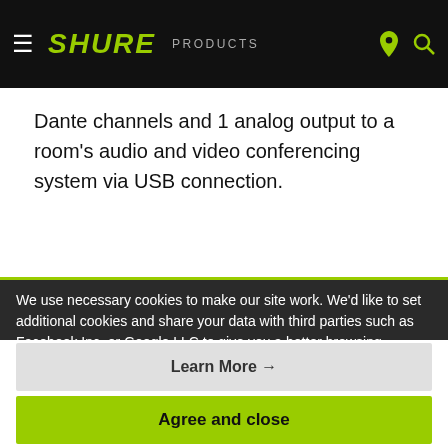SHURE  PRODUCTS
Dante channels and 1 analog output to a room's audio and video conferencing system via USB connection.
We use necessary cookies to make our site work. We'd like to set additional cookies and share your data with third parties such as Facebook Inc. or Google LLC to give you a better browsing experience, analyze
Learn More →
Agree and close